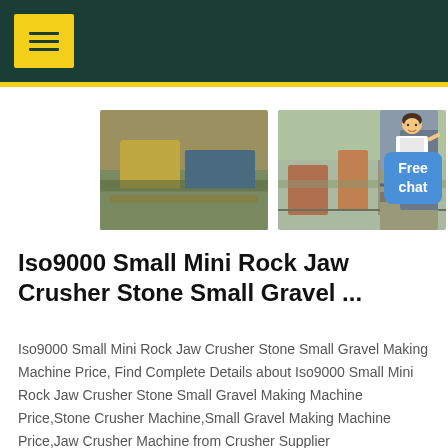Navigation header with menu button
[Figure (photo): Three industrial stone crusher / gravel making machine photos shown side by side, plus a customer service avatar and Free chat button]
Iso9000 Small Mini Rock Jaw Crusher Stone Small Gravel ...
Iso9000 Small Mini Rock Jaw Crusher Stone Small Gravel Making Machine Price, Find Complete Details about Iso9000 Small Mini Rock Jaw Crusher Stone Small Gravel Making Machine Price,Stone Crusher Machine,Small Gravel Making Machine Price,Jaw Crusher Machine from Crusher Supplier